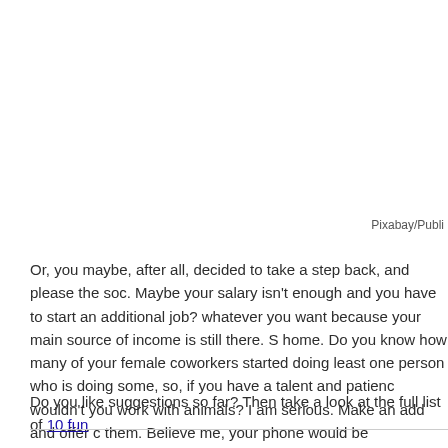Pixabay/Publi
Or, you maybe, after all, decided to take a step back, and please the soc. Maybe your salary isn't enough and you have to start an additional job? whatever you want because your main source of income is still there. S home. Do you know how many of your female coworkers started doing least one person who is doing some, so, if you have a talent and patienc wouldn't you work with animals? I am serious. Make an add and offer c them. Believe me, your phone would be overheated. Besides, dogs are n happier when he sees you.
Do you like suggestions so far? Then take a look at the full list of 10 fun